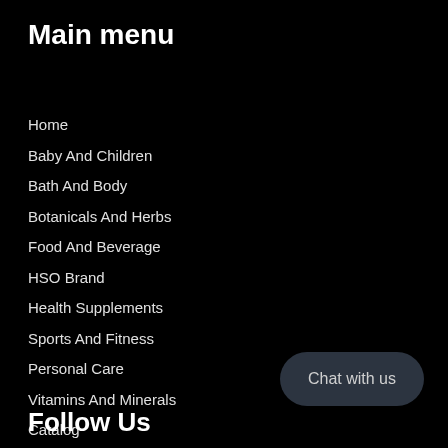Main menu
Home
Baby And Children
Bath And Body
Botanicals And Herbs
Food And Beverage
HSO Brand
Health Supplements
Sports And Fitness
Personal Care
Vitamins And Minerals
Catalog
Chat with us
Follow Us